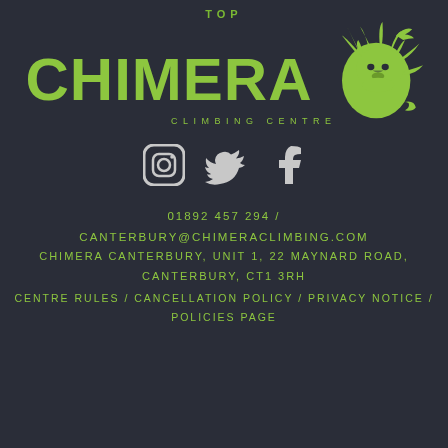TOP
[Figure (logo): Chimera Climbing Centre logo — large green 'CHIMERA' text with a green lion head graphic and the subtitle 'CLIMBING CENTRE']
[Figure (infographic): Three social media icons: Instagram, Twitter, Facebook rendered in dark color on white/light circles]
01892 457 294  /
CANTERBURY@CHIMERACLIMBING.COM
CHIMERA CANTERBURY, UNIT 1, 22 MAYNARD ROAD,
CANTERBURY, CT1 3RH
CENTRE RULES  /  CANCELLATION POLICY  /  PRIVACY NOTICE  /  POLICIES PAGE